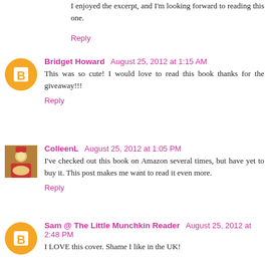I enjoyed the excerpt, and I'm looking forward to reading this one.
Reply
Bridget Howard  August 25, 2012 at 1:15 AM
This was so cute! I would love to read this book thanks for the giveaway!!!
Reply
ColleenL  August 25, 2012 at 1:05 PM
I've checked out this book on Amazon several times, but have yet to buy it. This post makes me want to read it even more.
Reply
Sam @ The Little Munchkin Reader  August 25, 2012 at 2:48 PM
I LOVE this cover. Shame I like in the UK!